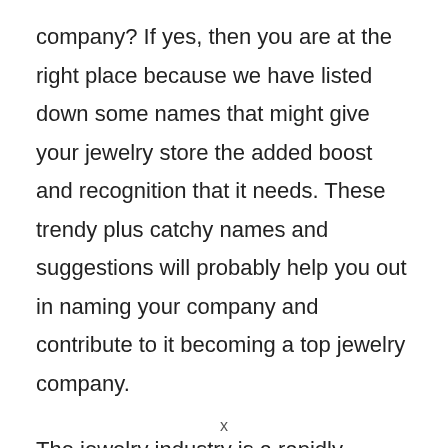company? If yes, then you are at the right place because we have listed down some names that might give your jewelry store the added boost and recognition that it needs. These trendy plus catchy names and suggestions will probably help you out in naming your company and contribute to it becoming a top jewelry company.
The jewelry industry is a rapidly growing industry of recent times. Not only have the traditional jewelry industry flourished but even the small jewelry start-ups have seen steady growth in their income and sales. It is therefore imperative that you choose a
x